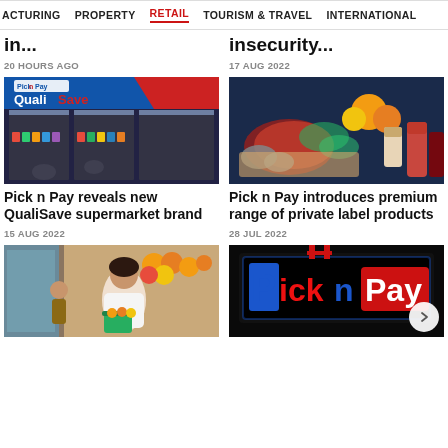ACTURING  PROPERTY  RETAIL  TOURISM & TRAVEL  INTERNATIONAL
in...
20 HOURS AGO
insecurity...
17 AUG 2022
[Figure (photo): Pick n Pay QualiSave supermarket storefront with refrigerated displays]
Pick n Pay reveals new QualiSave supermarket brand
15 AUG 2022
[Figure (photo): Assorted premium food and beverage products including meats, fruits, and condiments on a dark background]
Pick n Pay introduces premium range of private label products
28 JUL 2022
[Figure (photo): Woman shopping in grocery store with green basket, fresh produce visible]
[Figure (photo): Pick n Pay illuminated sign with red and blue logo on dark background]